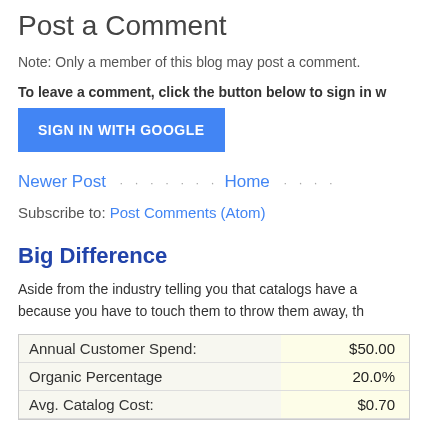Post a Comment
Note: Only a member of this blog may post a comment.
To leave a comment, click the button below to sign in w
SIGN IN WITH GOOGLE
Newer Post · · · · · · · Home · · · ·
Subscribe to: Post Comments (Atom)
Big Difference
Aside from the industry telling you that catalogs have a because you have to touch them to throw them away, th
|  |  |
| --- | --- |
| Annual Customer Spend: | $50.00 |
| Organic Percentage | 20.0% |
| Avg. Catalog Cost: | $0.70 |